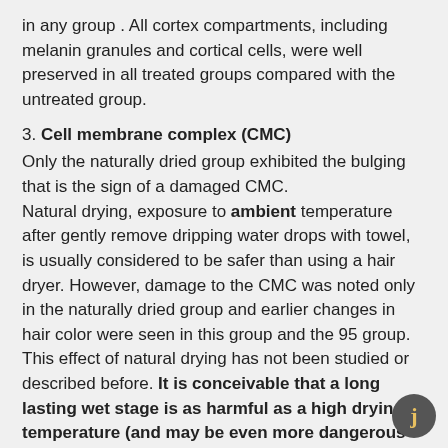in any group . All cortex compartments, including melanin granules and cortical cells, were well preserved in all treated groups compared with the untreated group.
3. Cell membrane complex (CMC)
Only the naturally dried group exhibited the bulging that is the sign of a damaged CMC.
Natural drying, exposure to ambient temperature after gently remove dripping water drops with towel, is usually considered to be safer than using a hair dryer. However, damage to the CMC was noted only in the naturally dried group and earlier changes in hair color were seen in this group and the 95 group. This effect of natural drying has not been studied or described before. It is conceivable that a long lasting wet stage is as harmful as a high drying temperature (and may be even more dangerous to the CMC). Further evaluation about contact time with water or wet environment and hair damage is needed.